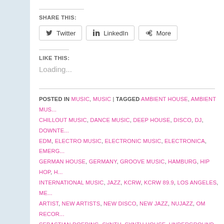SHARE THIS:
[Figure (screenshot): Share buttons: Twitter, LinkedIn, More]
LIKE THIS:
Loading...
POSTED IN MUSIC, MUSIC | TAGGED AMBIENT HOUSE, AMBIENT MUS... CHILLOUT MUSIC, DANCE MUSIC, DEEP HOUSE, DISCO, DJ, DOWNTE... EDM, ELECTRO MUSIC, ELECTRONIC MUSIC, ELECTRONICA, EMERG... GERMAN HOUSE, GERMANY, GROOVE MUSIC, HAMBURG, HIP HOP, H... INTERNATIONAL MUSIC, JAZZ, KCRW, KCRW 89.9, LOS ANGELES, ME... ARTIST, NEW ARTISTS, NEW DISCO, NEW JAZZ, NUJAZZ, OM RECOR... SEBASTIAN DOERING, SYNTH, SYNTH HOUSE, UNDERGROUND MUSI... SOUL